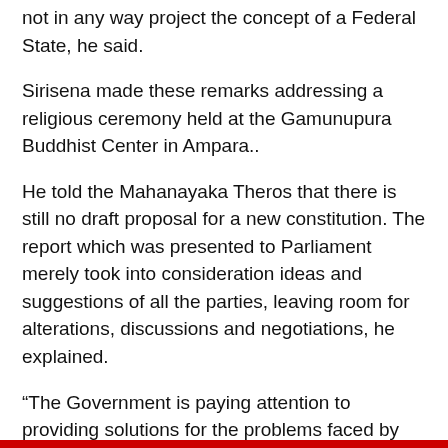not in any way project the concept of a Federal State, he said.
Sirisena made these remarks addressing a religious ceremony held at the Gamunupura Buddhist Center in Ampara..
He told the Mahanayaka Theros that there is still no draft proposal for a new constitution. The report which was presented to Parliament merely took into consideration ideas and suggestions of all the parties, leaving room for alterations, discussions and negotiations, he explained.
“The Government is paying attention to providing solutions for the problems faced by the people in the Northern and Eastern Provinces, ensuring sustainable peace in the country, building reconciliation among all the communities in a way which will prevent the recurrence of war,” Sirisena said.